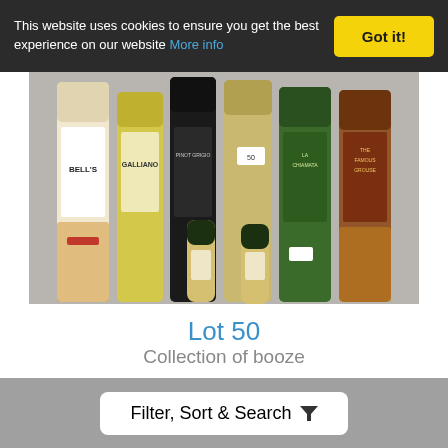This website uses cookies to ensure you get the best experience on our website More info | Got it!
[Figure (photo): Collection of liquor bottles including Bell's whisky, Galliano, Pinot Grigio, an unlabeled bottle with lot 50 sticker, La Chiamata, The Famous Grouse, and two small green miniature bottles in front.]
Lot 50
Collection of booze
Hammer £30
Fees ?
Filter, Sort & Search